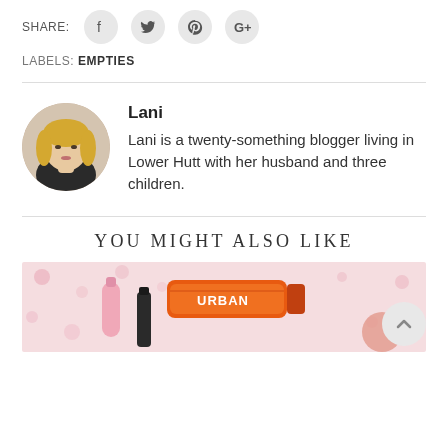SHARE: [Facebook] [Twitter] [Pinterest] [Google+]
LABELS: EMPTIES
Lani
Lani is a twenty-something blogger living in Lower Hutt with her husband and three children.
YOU MIGHT ALSO LIKE
[Figure (photo): Photo of beauty/makeup products including an orange Urban product tube on a floral background]